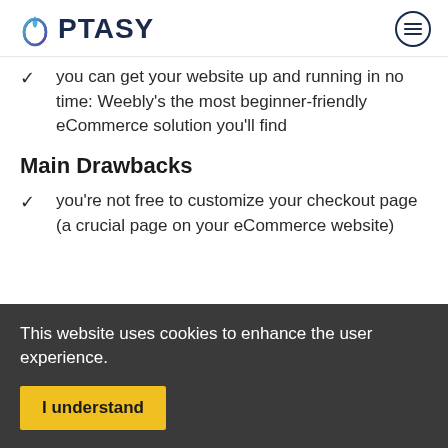OPTASY
you can get your website up and running in no time: Weebly's the most beginner-friendly eCommerce solution you'll find
Main Drawbacks
you're not free to customize your checkout page (a crucial page on your eCommerce website)
This website uses cookies to enhance the user experience.
I understand